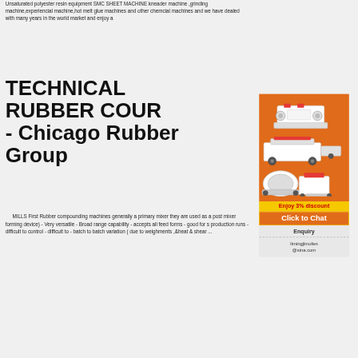Unsaturated polyester resin equipment SMC SHEET MACHINE kneader machine ,grinding machine,experiencial machine,hot melt glue machines and other chemcial machines and we have dealed with many years in the world market and enjoy a
TECHNICAL RUBBER COUR - Chicago Rubber Group
[Figure (illustration): Advertisement panel with orange background showing industrial grinding/milling machines, a yellow banner saying 'Enjoy 3% discount', an orange 'Click to Chat' button, a gray 'Enquiry' section, and email limingjlmofen@sina.com]
MILLS First Rubber compounding machines generally a primary mixer they are used as a post mixer forming device) - Very versatile - Broad range capability - accepts all feed forms - good for s production runs - difficult to control - difficult to - batch to batch variation ( due to weighments ,&heat & shear ...